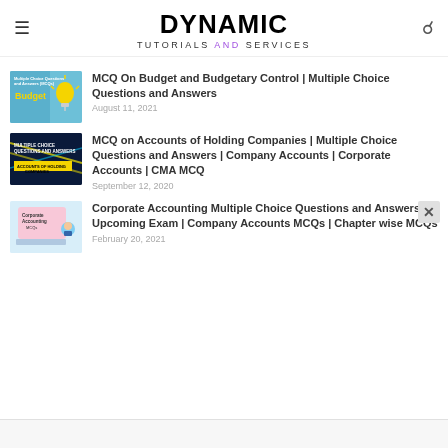DYNAMIC TUTORIALS AND SERVICES
[Figure (illustration): Thumbnail image for Budget MCQ article showing a lightbulb and text 'Multiple Choice Questions and Answers (MCQs), Budget']
MCQ On Budget and Budgetary Control | Multiple Choice Questions and Answers
August 11, 2021
[Figure (illustration): Thumbnail image for Accounts of Holding Companies MCQ article with dark navy background and yellow bar text]
MCQ on Accounts of Holding Companies | Multiple Choice Questions and Answers | Company Accounts | Corporate Accounts | CMA MCQ
September 12, 2020
[Figure (illustration): Thumbnail image for Corporate Accounting MCQs article showing a cartoon student at a laptop]
Corporate Accounting Multiple Choice Questions and Answers for Upcoming Exam | Company Accounts MCQs | Chapter wise MCQs
February 20, 2021